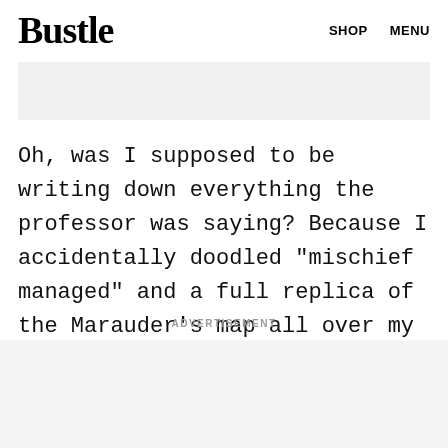Bustle   SHOP   MENU
[Figure (other): Gray advertisement banner placeholder]
Oh, was I supposed to be writing down everything the professor was saying? Because I accidentally doodled "mischief managed" and a full replica of the Marauder's map all over my notebook...
ADVERTISEMENT